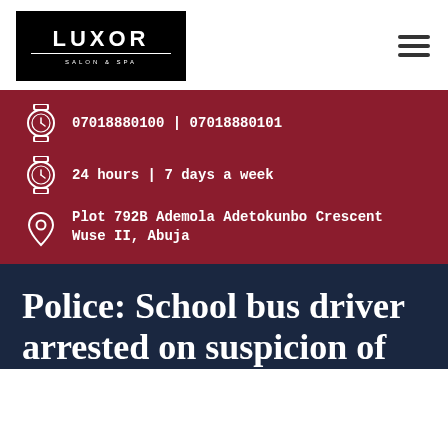[Figure (logo): Luxor Salon & Spa logo on black background with white text and decorative line]
07018880100 | 07018880101
24 hours | 7 days a week
Plot 792B Ademola Adetokunbo Crescent Wuse II, Abuja
Police: School bus driver arrested on suspicion of